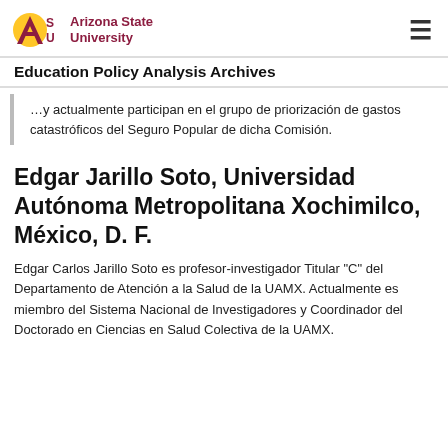[Figure (logo): Arizona State University logo with ASU text in maroon and gold sunburst]
Education Policy Analysis Archives
…y actualmente participan en el grupo de priorización de gastos catastróficos del Seguro Popular de dicha Comisión.
Edgar Jarillo Soto, Universidad Autónoma Metropolitana Xochimilco, México, D. F.
Edgar Carlos Jarillo Soto es profesor-investigador Titular "C" del Departamento de Atención a la Salud de la UAMX. Actualmente es miembro del Sistema Nacional de Investigadores y Coordinador del Doctorado en Ciencias en Salud Colectiva de la UAMX.